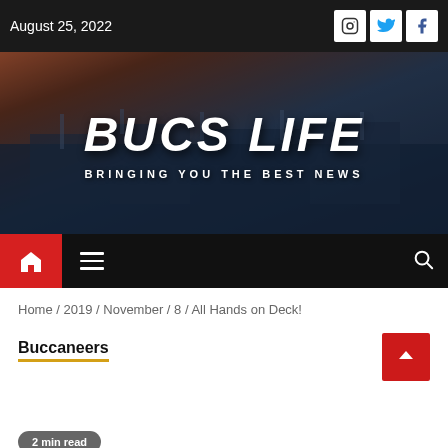August 25, 2022
[Figure (screenshot): Bucs Life website header banner showing a football stadium at sunset with the text BUCS LIFE and BRINGING YOU THE BEST NEWS]
Home / 2019 / November / 8 / All Hands on Deck!
Buccaneers
2 min read